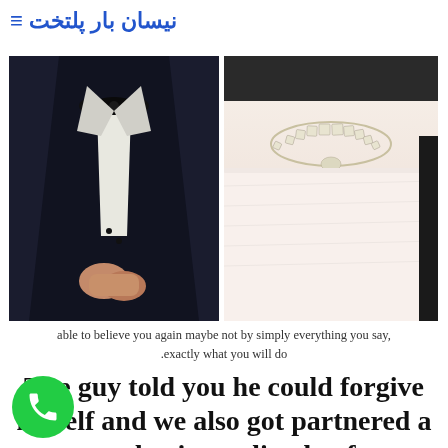نیسان بار پلتخت
[Figure (photo): Two side-by-side photos: left shows a man in a black tuxedo with bow tie, hands clasped; right shows a woman in a white strapless dress wearing a diamond necklace.]
able to believe you again maybe not by simply everything you say,
exactly what you will do.
The guy told you he could forgive myself and we also got partnered a great day immediately after infidelity try